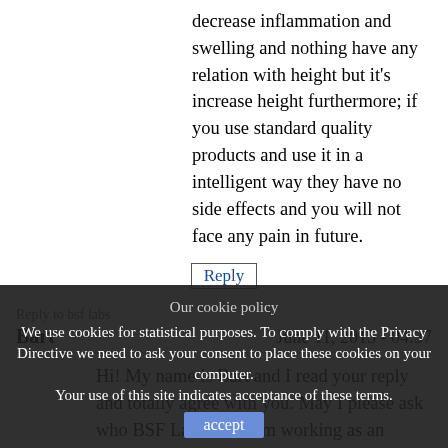decrease inflammation and swelling and nothing have any relation with height but it's increase height furthermore; if you use standard quality products and use it in a intelligent way they have no side effects and you will not face any pain in future.
Reply
Reply to bsf labs
Bart
June 11, 2015 - 04:37
Hi! My name is Bart and I read your reply and totally agree with you. May I please ask who BSF Labs are. I am working as an Assistant Physician and Public Pa... with ... of High Dose Steroid Metabol... on. You are correct about Steroids decreasing ... like to know if you... some good Standard Quality Products I may me
Our cookie policy
We use cookies for statistical purposes. To comply with the Privacy Directive we need to ask your consent to place these cookies on your computer. Your use of this site indicates acceptance of these terms.
accept